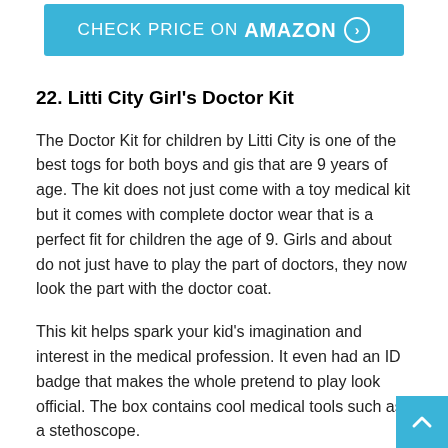[Figure (other): Blue 'CHECK PRICE ON AMAZON' button with arrow icon]
22. Litti City Girl's Doctor Kit
The Doctor Kit for children by Litti City is one of the best togs for both boys and gis that are 9 years of age. The kit does not just come with a toy medical kit but it comes with complete doctor wear that is a perfect fit for children the age of 9. Girls and about do not just have to play the part of doctors, they now look the part with the doctor coat.
This kit helps spark your kid's imagination and interest in the medical profession. It even had an ID badge that makes the whole pretend to play look official. The box contains cool medical tools such as a stethoscope.